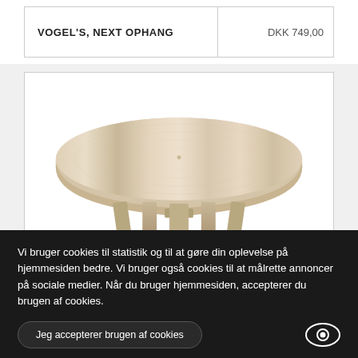| Product | Price |
| --- | --- |
| VOGEL'S, NEXT OPHANG | DKK 749,00 |
[Figure (photo): A round light wood coffee table seen from above and slightly to the side, showing the round top surface and wooden crossed legs beneath, on a white background.]
Vi bruger cookies til statistik og til at gøre din oplevelse på hjemmesiden bedre. Vi bruger også cookies til at målrette annoncer på sociale medier. Når du bruger hjemmesiden, accepterer du brugen af cookies.
Jeg accepterer brugen af cookies